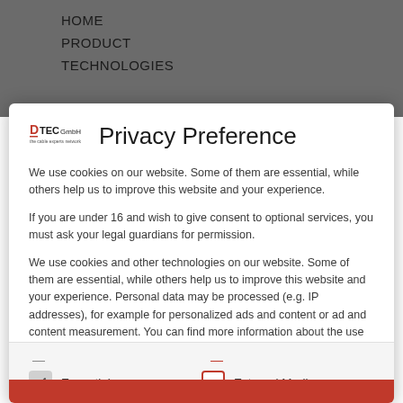HOME
PRODUCT
TECHNOLOGIES
Privacy Preference
We use cookies on our website. Some of them are essential, while others help us to improve this website and your experience.
If you are under 16 and wish to give consent to optional services, you must ask your legal guardians for permission.
We use cookies and other technologies on our website. Some of them are essential, while others help us to improve this website and your experience. Personal data may be processed (e.g. IP addresses), for example for personalized ads and content or ad and content measurement. You can find more information about the use of your
Essential
External Media